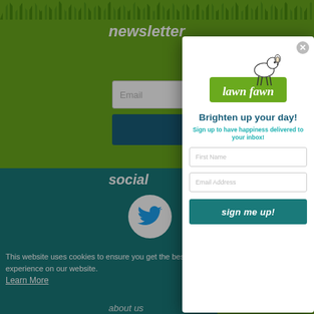newsletter
Email
social
This website uses cookies to ensure you get the best experience on our website. Learn More
[Figure (logo): Lawn Fawn brand logo with illustrated deer and green banner]
Brighten up your day!
Sign up to have happiness delivered to your inbox!
First Name
Email Address
sign me up!